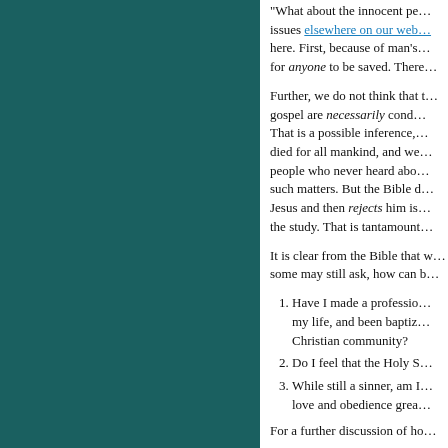"What about the innocent pe... issues elsewhere on our web... here. First, because of man's... for anyone to be saved. There...
Further, we do not think that t... gospel are necessarily cond... That is a possible inference,... died for all mankind, and we... people who never heard abo... such matters. But the Bible d... Jesus and then rejects him is... the study. That is tantamount...
It is clear from the Bible that w... some may still ask, how can b...
Have I made a professio... my life, and been baptiz... Christian community?
Do I feel that the Holy S...
While still a sinner, am I... love and obedience grea...
For a further discussion of ho...